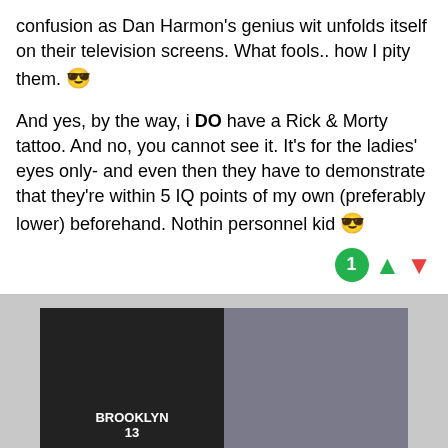confusion as Dan Harmon's genius wit unfolds itself on their television screens. What fools.. how I pity them. 😎

And yes, by the way, i DO have a Rick & Morty tattoo. And no, you cannot see it. It's for the ladies' eyes only- and even then they have to demonstrate that they're within 5 IQ points of my own (preferably lower) beforehand. Nothin personnel kid 😎
[Figure (photo): Split image: left side shows two Brooklyn Nets basketball players (numbers 13 jersey reading BROOKLYN) smiling and celebrating; right side shows a person in a hallway near a blue door.]
...